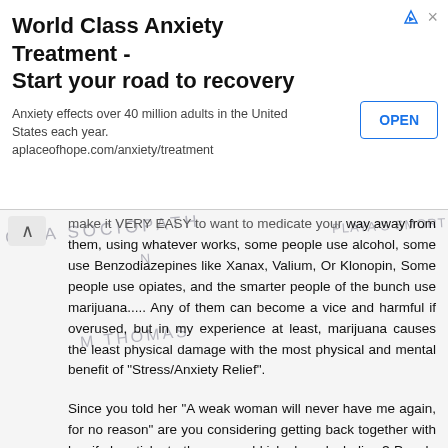[Figure (other): Advertisement banner: 'World Class Anxiety Treatment - Start your road to recovery'. Includes OPEN button and tagline 'Anxiety effects over 40 million adults in the United States each year. aplaceofhope.com/anxiety/treatment']
make it VERY EASY to want to medicate your way away from them, using whatever works, some people use alcohol, some use Benzodiazepines like Xanax, Valium, Or Klonopin, Some people use opiates, and the smarter people of the bunch use marijuana..... Any of them can become a vice and harmful if overused, but in my experience at least, marijuana causes the least physical damage with the most physical and mental benefit of "Stress/Anxiety Relief".
Since you told her "A weak woman will never have me again, for no reason" are you considering getting back together with her if she sticks to therapy and kicks her alcoholism? People can be and usually are way different when they arent using or on their "drug of